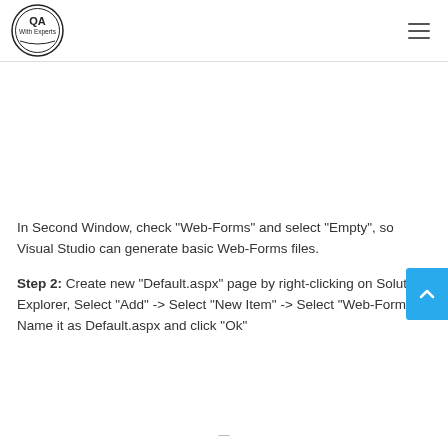QA With Experts
In Second Window, check "Web-Forms" and select "Empty", so Visual Studio can generate basic Web-Forms files.
Step 2: Create new "Default.aspx" page by right-clicking on Solution Explorer, Select "Add" -> Select "New Item" -> Select "Web-Forms" Name it as Default.aspx and click "Ok"